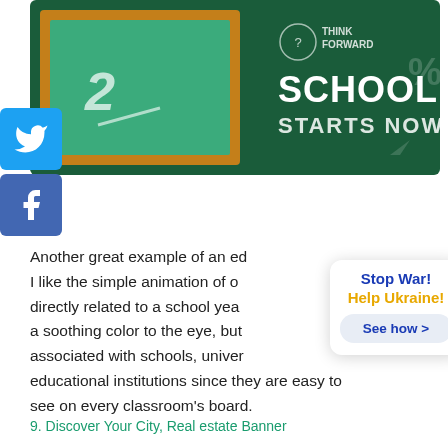[Figure (illustration): Educational banner with a dark green background showing a chalkboard with chalk writing, orange border, text 'THINK FORWARD', 'SCHOOL STARTS NOW' in white, and decorative percent symbols]
[Figure (logo): Twitter social media share button - blue square with white bird icon]
[Figure (logo): Facebook social media share button - purple square with white 'f' icon]
Another great example of an ed I like the simple animation of o directly related to a school yea a soothing color to the eye, but associated with schools, unive educational institutions since they are easy to see on every classroom's board.
[Figure (infographic): Popup overlay with close X button, bold blue text 'Stop War!', bold yellow text 'Help Ukraine!', and a light blue rounded button 'See how >']
9. Discover Your City, Real estate Banner